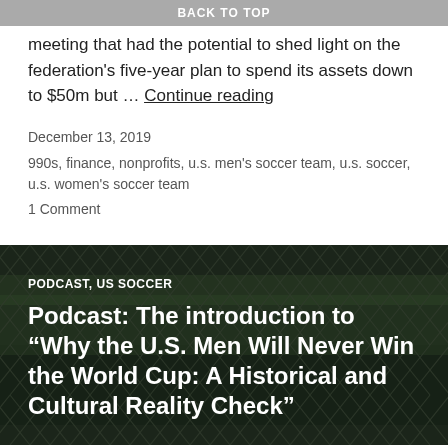BACK TO TOP
meeting that had the potential to shed light on the federation's five-year plan to spend its assets down to $50m but … Continue reading
December 13, 2019
990s, finance, nonprofits, u.s. men's soccer team, u.s. soccer, u.s. women's soccer team
1 Comment
[Figure (photo): Chain-link fence with green field visible behind, serving as background for article card]
PODCAST, US SOCCER
Podcast: The introduction to “Why the U.S. Men Will Never Win the World Cup: A Historical and Cultural Reality Check”